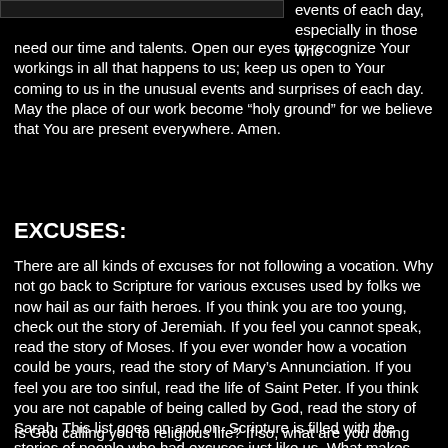[Figure (photo): Dark image block in top left corner, partially visible]
events of each day, especially in those who need our time and talents. Open our eyes to recognize Your workings in all that happens to us; keep us open to Your coming to us in the unusual events and surprises of each day. May the place of our work become “holy ground” for we believe that You are present everywhere. Amen.
EXCUSES:
There are all kinds of excuses for not following a vocation. Why not go back to Scripture for various excuses used by folks we now hail as our faith heroes. If you think you are too young, check out the story of Jeremiah. If you feel you cannot speak, read the story of Moses. If you ever wonder how a vocation could be yours, read the story of Mary’s Annunciation. If you feel you are too sinful, read the life of Saint Peter. If you think you are not capable of being called by God, read the story of Sarah. This list goes on and on. Scripture is filled with the stories of people who had excuses just like us. What makes them great? They moved forward in faith, relying on God.
Is God calling you to religious life? If so, what are you doing